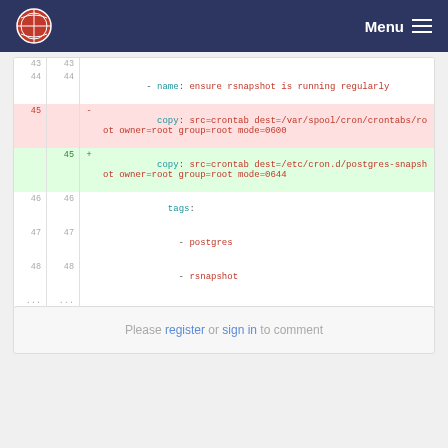Menu
[Figure (screenshot): Code diff view showing YAML configuration lines 43-48 with line 45 changed from copy to /var/spool/cron/crontabs/root to copy to /etc/cron.d/postgres-snapshot]
Please register or sign in to comment